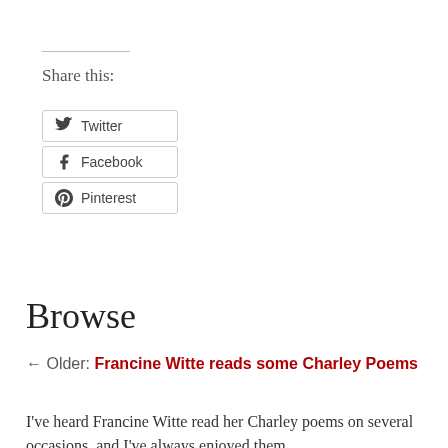Share this:
Twitter
Facebook
Pinterest
Browse
← Older: Francine Witte reads some Charley Poems
I've heard Francine Witte read her Charley poems on several occasions, and I've always enjoyed them,